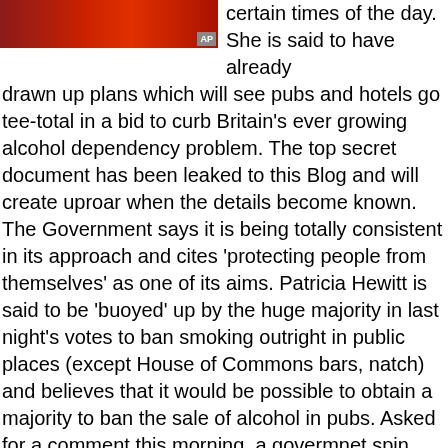[Figure (photo): A dark reddish-colored image, appears to be a news photo with an AP watermark badge in the bottom right corner.]
certain times of the day. She is said to have already drawn up plans which will see pubs and hotels go tee-total in a bid to curb Britain's ever growing alcohol dependency problem. The top secret document has been leaked to this Blog and will create uproar when the details become known. The Government says it is being totally consistent in its approach and cites 'protecting people from themselves' as one of its aims. Patricia Hewitt is said to be 'buoyed' up by the huge majority in last night's votes to ban smoking outright in public places (except House of Commons bars, natch) and believes that it would be possible to obtain a majority to ban the sale of alcohol in pubs. Asked for a comment this morning, a govermnet spin doctor said: "Patricia Hewitt believes that the health of the nation is her number one concern and that people have to be saved from themselves. They will thank her in the long run." Meanwhile, Rob Hayward, chief executive of the Beer & Pub Association reacted with outrage. "F****g hell," was his initial reaction.
Now, dear reader, you have presumably gathered by now that this is a little invention on my part, but it does have a